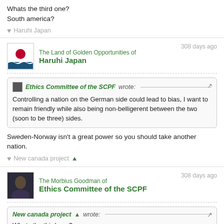Whats the third one?
South america?
♥ Haruhi Japan
The Land of Golden Opportunities of Haruhi Japan — 308 days ago
Ethics Committee of the SCPF wrote: Controlling a nation on the German side could lead to bias, I want to remain friendly while also being non-belligerent between the two (soon to be three) sides.
Sweden-Norway isn't a great power so you should take another nation.
♥ New canada project 🧍
The Morbius Goodman of Ethics Committee of the SCPF — 308 days ago
New canada project 🧍 wrote: Whats the third one?
South america?